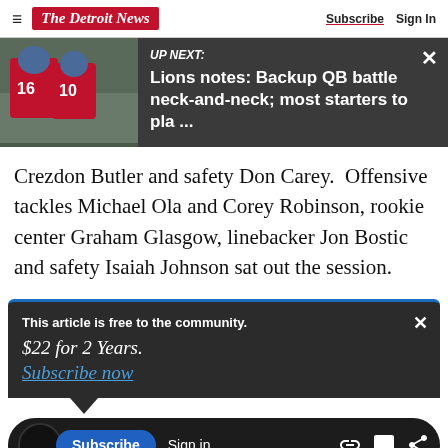The Detroit News | Subscribe | Sign In
[Figure (screenshot): UP NEXT banner with Detroit Lions players in red jerseys (numbers 16 and 10) and text: UP NEXT: Lions notes: Backup QB battle neck-and-neck; most starters to pla ...]
Crezdon Butler and safety Don Carey.  Offensive tackles Michael Ola and Corey Robinson, rookie center Graham Glasgow, linebacker Jon Bostic and safety Isaiah Johnson sat out the session.
This article is free to the community.
$22 for 2 Years.
Subscribe now